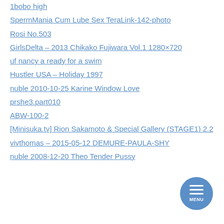1bobo high
SpermMania Cum Lube Sex TeraLink-142-photo
Rosi No.503
GirlsDelta – 2013 Chikako Fujiwara Vol.1 1280×720
uf nancy a ready for a swim
Hustler USA – Holiday 1997
nuble 2010-10-25 Karine Window Love
prshe3.part010
ABW-100-2
[Minisuka.tv] Rion Sakamoto & Special Gallery (STAGE1) 2.2
vivthomas – 2015-05-12 DEMURE-PAULA-SHY
nuble 2008-12-20 Theo Tender Pussy